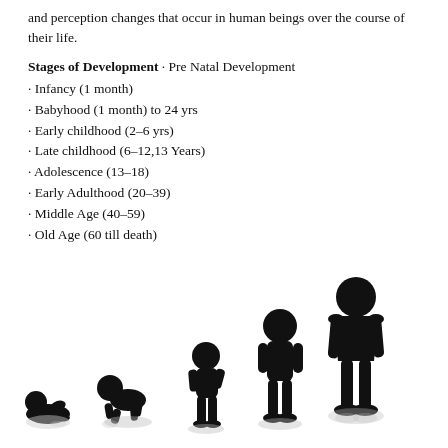and perception changes that occur in human beings over the course of their life.
Stages of Development · Pre Natal Development
· Infancy (1 month)
· Babyhood (1 month) to 24 yrs
· Early childhood (2–6 yrs)
· Late childhood (6–12,13 Years)
· Adolescence (13–18)
· Early Adulthood (20–39)
· Middle Age (40–59)
· Old Age (60 till death)
[Figure (illustration): Black silhouettes showing human growth stages from infant lying down, to crawling baby, toddler, child, teenager, to adult, arranged left to right in increasing height with reflections beneath.]